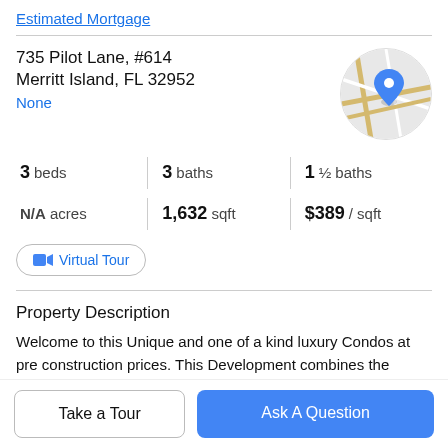Estimated Mortgage
735 Pilot Lane, #614
Merritt Island, FL 32952
None
[Figure (map): Circular map thumbnail showing street map with blue location pin marker]
3 beds | 3 baths | 1 ½ baths
N/A acres | 1,632 sqft | $389 / sqft
Virtual Tour
Property Description
Welcome to this Unique and one of a kind luxury Condos at pre construction prices. This Development combines the
Take a Tour
Ask A Question